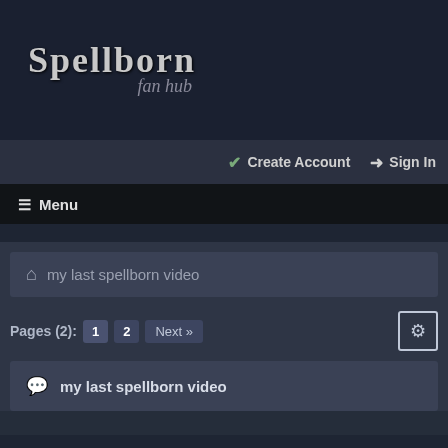SPELLBORN fan hub
✓ Create Account ➜ Sign In
☰ Menu
my last spellborn video
Pages (2): 1 2 Next »
my last spellborn video